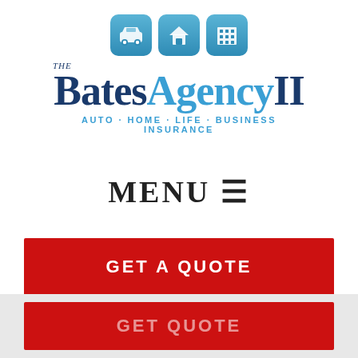[Figure (logo): The Bates Agency II logo with icons for auto (car), home (house), and business (building) in blue rounded squares, company name in dark navy and light blue serif font, tagline AUTO · HOME · LIFE · BUSINESS INSURANCE in light blue]
MENU ☰
GET A QUOTE
GET QUOTE